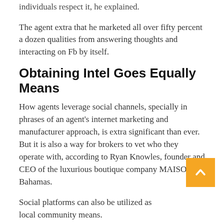individuals respect it, he explained.
The agent extra that he marketed all over fifty percent a dozen qualities from answering thoughts and interacting on Fb by itself.
Obtaining Intel Goes Equally Means
How agents leverage social channels, specially in phrases of an agent's internet marketing and manufacturer approach, is extra significant than ever. But it is also a way for brokers to vet who they operate with, according to Ryan Knowles, founder and CEO of the luxurious boutique company MAISON Bahamas.
Social platforms can also be utilized as local community means.
getty